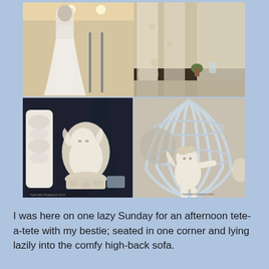[Figure (photo): Collage of three photos: top photo shows a bridal shop with a mannequin in a white gown and lace curtains/fabric displays; bottom-left photo shows ornate cherub/angel figurines and decorative items on a dark surface; bottom-right photo shows a white birdcage with a cherub figurine inside.]
I was here on one lazy Sunday for an afternoon tete-a-tete with my bestie; seated in one corner and lying lazily into the comfy high-back sofa.